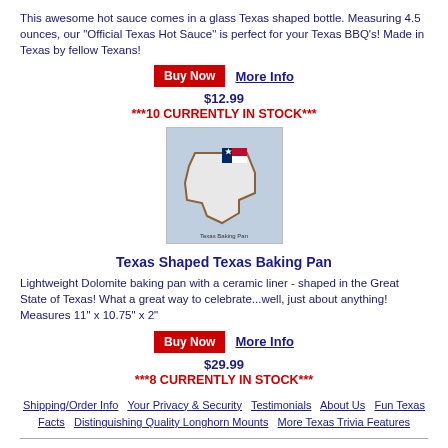This awesome hot sauce comes in a glass Texas shaped bottle. Measuring 4.5 ounces, our "Official Texas Hot Sauce" is perfect for your Texas BBQ's! Made in Texas by fellow Texans!
Buy Now   More Info
$12.99
***10 CURRENTLY IN STOCK***
[Figure (photo): Texas Shaped Texas Baking Pan product photo - a ceramic pan shaped like the state of Texas with a Texas flag design]
Texas Shaped Texas Baking Pan
Lightweight Dolomite baking pan with a ceramic liner - shaped in the Great State of Texas! What a great way to celebrate...well, just about anything! Measures 11" x 10.75" x 2"
Buy Now   More Info
$29.99
***8 CURRENTLY IN STOCK***
Shipping/Order Info   Your Privacy & Security   Testimonials   About Us   Fun Texas Facts   Distinguishing Quality Longhorn Mounts   More Texas Trivia Features